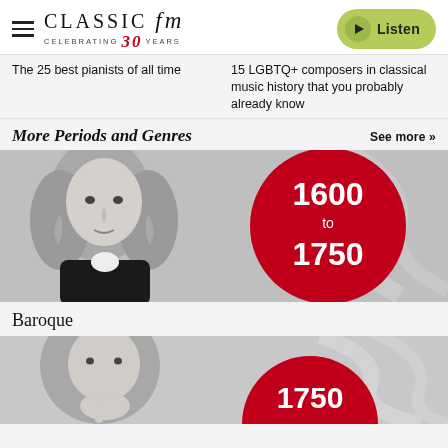Classic FM — Celebrating 30 Years | Listen
The 25 best pianists of all time
15 LGBTQ+ composers in classical music history that you probably already know
More Periods and Genres
See more »
[Figure (photo): Black and white portrait of a Baroque-era composer (Bach) with a red circle overlay showing '1600 to 1750']
Baroque
[Figure (photo): Black and white portrait of a classical-era composer with a red circle overlay showing '1750']